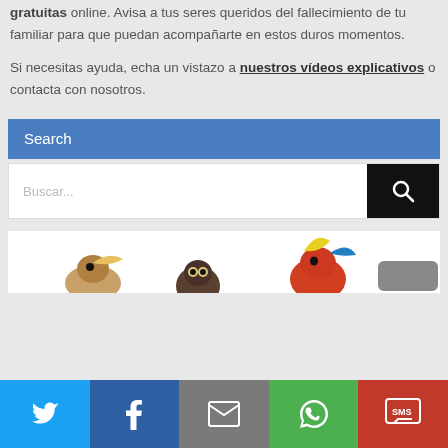gratuitas online. Avisa a tus seres queridos del fallecimiento de tu familiar para que puedan acompañarte en estos duros momentos.
Si necesitas ayuda, echa un vistazo a nuestros vídeos explicativos o contacta con nosotros.
Search
[Figure (screenshot): Search input box with placeholder 'Buscar...' and a black search button with magnifying glass icon]
[Figure (illustration): Bottom portion of a widget showing colorful parrots/birds illustration, partially cut off]
[Figure (infographic): Social sharing bar at the bottom with Twitter (blue), Facebook (dark blue), Email (gray), WhatsApp (green), SMS (red) buttons]